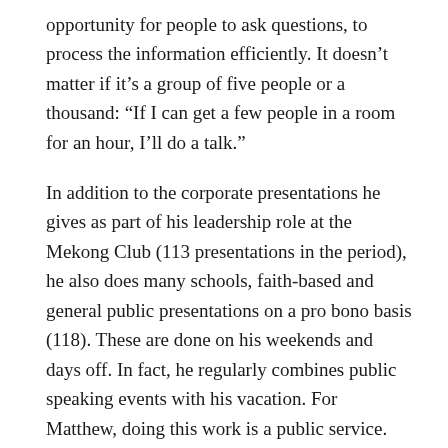opportunity for people to ask questions, to process the information efficiently. It doesn't matter if it's a group of five people or a thousand: “If I can get a few people in a room for an hour, I’ll do a talk.”
In addition to the corporate presentations he gives as part of his leadership role at the Mekong Club (113 presentations in the period), he also does many schools, faith-based and general public presentations on a pro bono basis (118). These are done on his weekends and days off. In fact, he regularly combines public speaking events with his vacation. For Matthew, doing this work is a public service. He feels that for us to win this fight, we need people to internalise the nuances of the issue. He feels that the prerequisite for people to help must first come from them “caring